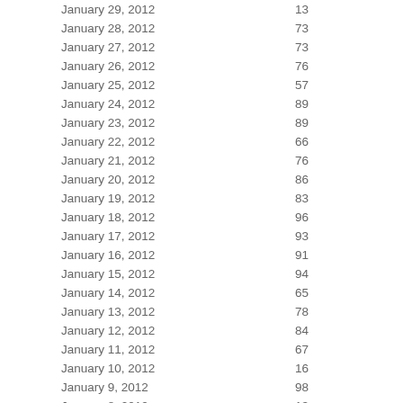| Date | Value |
| --- | --- |
| January 29, 2012 | 13 |
| January 28, 2012 | 73 |
| January 27, 2012 | 73 |
| January 26, 2012 | 76 |
| January 25, 2012 | 57 |
| January 24, 2012 | 89 |
| January 23, 2012 | 89 |
| January 22, 2012 | 66 |
| January 21, 2012 | 76 |
| January 20, 2012 | 86 |
| January 19, 2012 | 83 |
| January 18, 2012 | 96 |
| January 17, 2012 | 93 |
| January 16, 2012 | 91 |
| January 15, 2012 | 94 |
| January 14, 2012 | 65 |
| January 13, 2012 | 78 |
| January 12, 2012 | 84 |
| January 11, 2012 | 67 |
| January 10, 2012 | 16 |
| January 9, 2012 | 98 |
| January 8, 2012 | 13 |
| January 7, 2012 | 83 |